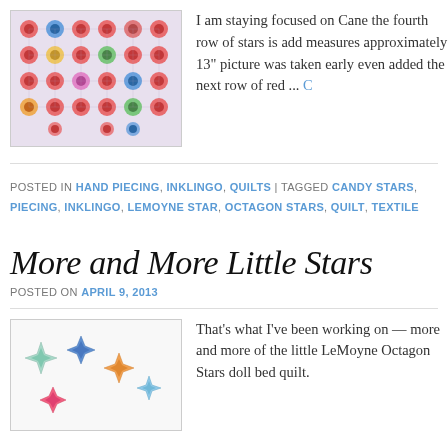[Figure (photo): A colorful quilt with a pattern of star-shaped octagon flowers in red, green, blue, and multicolor on a light background.]
I am staying focused on Candy Stars the fourth row of stars is added now measures approximately 13" picture was taken early even added the next row of red ...
POSTED IN HAND PIECING, INKLINGO, QUILTS | TAGGED CANDY STARS, PIECING, INKLINGO, LEMOYNE STAR, OCTAGON STARS, QUILT, TEXTILE
More and More Little Stars
POSTED ON APRIL 9, 2013
[Figure (photo): Several colorful LeMoyne star quilt pieces on a white background in light blue, blue, orange, and pink/red colors.]
That's what I've been working on — more and more of the little LeMoyne Octagon Stars doll bed quilt.